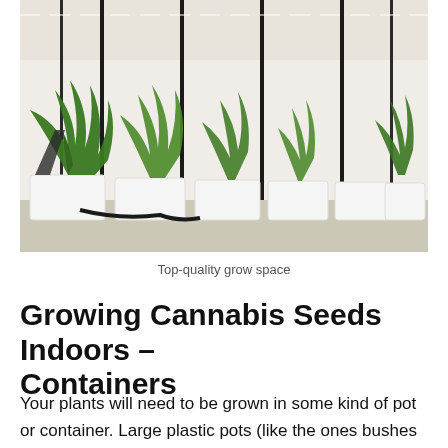[Figure (photo): Indoor cannabis grow space with multiple large white containers/pots holding tall cannabis plants, arranged in rows under artificial lighting in a white-walled room with black support poles.]
Top-quality grow space
Growing Cannabis Seeds Indoors – Containers
Your plants will need to be grown in some kind of pot or container. Large plastic pots (like the ones bushes come in) work best. Fill the bottom inch with large gravel to help